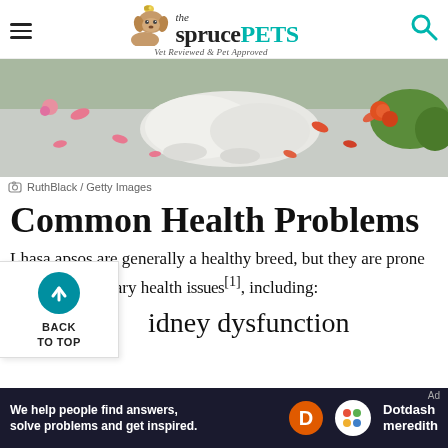the spruce PETS — Vet Reviewed & Pet Approved
[Figure (photo): A fluffy white dog lying on pavement surrounded by scattered pink and orange flower petals, with green plants visible in the background.]
RuthBlack / Getty Images
Common Health Problems
Lhasa apsos are generally a healthy breed, but they are prone to some hereditary health issues[1], including:
kidney dysfunction